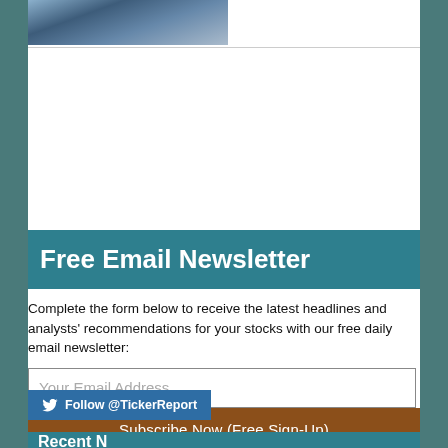[Figure (photo): Partial photo of two people, cropped at top]
Free Email Newsletter
Complete the form below to receive the latest headlines and analysts' recommendations for your stocks with our free daily email newsletter:
Your Email Address
Subscribe Now (Free Sign-Up)
Follow @TickerReport
Recent N...